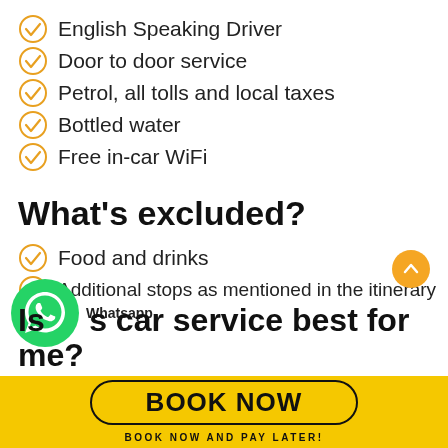English Speaking Driver
Door to door service
Petrol, all tolls and local taxes
Bottled water
Free in-car WiFi
What's excluded?
Food and drinks
Additional stops as mentioned in the itinerary
Is this car service best for me?
Whatsapp
BOOK NOW
BOOK NOW AND PAY LATER!